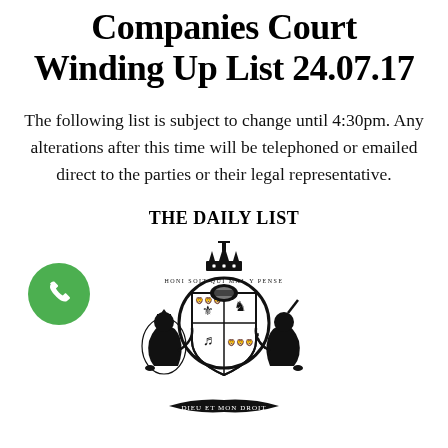Companies Court Winding Up List 24.07.17
The following list is subject to change until 4:30pm. Any alterations after this time will be telephoned or emailed direct to the parties or their legal representative.
THE DAILY LIST
[Figure (illustration): UK Royal Coat of Arms — lion and unicorn supporters, crown, shield, with motto ribbon below. Black and white heraldic illustration.]